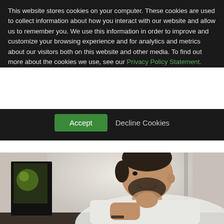This website stores cookies on your computer. These cookies are used to collect information about how you interact with our website and allow us to remember you. We use this information in order to improve and customize your browsing experience and for analytics and metrics about our visitors both on this website and other media. To find out more about the cookies we use, see our Privacy Policy Statement.
Accept | Decline Cookies
[Figure (photo): A bearded man in a white t-shirt sitting at a desk, leaning forward with his chin resting on his hand, looking intently at a computer monitor. The background shows a bright window. The photo is in color with natural lighting.]